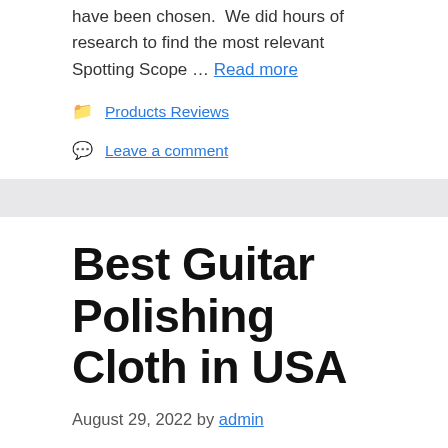have been chosen. We did hours of research to find the most relevant Spotting Scope … Read more
Products Reviews
Leave a comment
Best Guitar Polishing Cloth in USA
August 29, 2022 by admin
We looked for online reviews for the best Guitar Polishing Cloth. Click here to view the